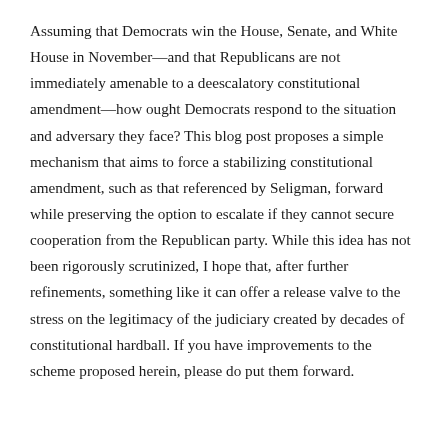Assuming that Democrats win the House, Senate, and White House in November—and that Republicans are not immediately amenable to a deescalatory constitutional amendment—how ought Democrats respond to the situation and adversary they face? This blog post proposes a simple mechanism that aims to force a stabilizing constitutional amendment, such as that referenced by Seligman, forward while preserving the option to escalate if they cannot secure cooperation from the Republican party. While this idea has not been rigorously scrutinized, I hope that, after further refinements, something like it can offer a release valve to the stress on the legitimacy of the judiciary created by decades of constitutional hardball. If you have improvements to the scheme proposed herein, please do put them forward.